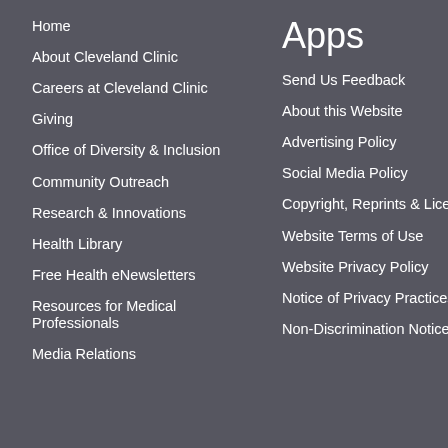Home
About Cleveland Clinic
Careers at Cleveland Clinic
Giving
Office of Diversity & Inclusion
Community Outreach
Research & Innovations
Health Library
Free Health eNewsletters
Resources for Medical Professionals
Media Relations
Apps
Send Us Feedback
About this Website
Advertising Policy
Social Media Policy
Copyright, Reprints & Licensing
Website Terms of Use
Website Privacy Policy
Notice of Privacy Practices
Non-Discrimination Notice